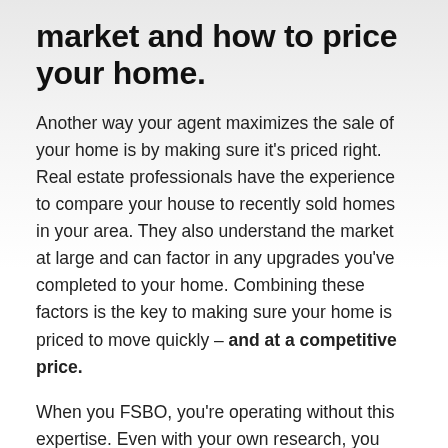market and how to price your home.
Another way your agent maximizes the sale of your home is by making sure it's priced right. Real estate professionals have the experience to compare your house to recently sold homes in your area. They also understand the market at large and can factor in any upgrades you've completed to your home. Combining these factors is the key to making sure your home is priced to move quickly – and at a competitive price.
When you FSBO, you're operating without this expertise. Even with your own research, you may not find the most up-to-date information and could risk setting a price that's inaccurate or